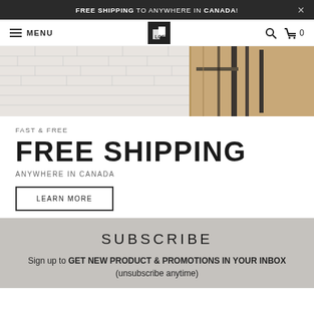FREE SHIPPING TO ANYWHERE IN CANADA!
[Figure (screenshot): Navigation bar with hamburger menu, MENU text, LOFT logo, search icon, and cart with 0 items]
[Figure (photo): Photo of cardboard boxes and a metal rack against a white brick wall]
FAST & FREE
FREE SHIPPING
ANYWHERE IN CANADA
LEARN MORE
SUBSCRIBE
Sign up to GET NEW PRODUCT & PROMOTIONS IN YOUR INBOX (unsubscribe anytime)